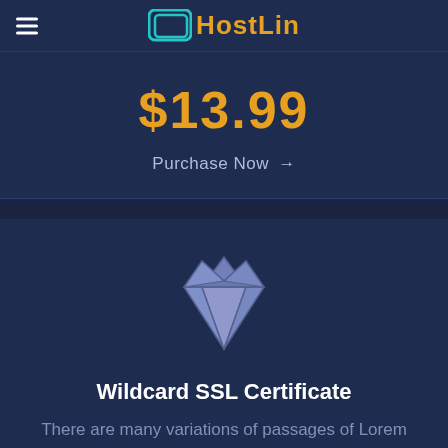HostLin
$13.99
Purchase Now →
[Figure (illustration): Diamond gem icon in muted purple/lavender color]
Wildcard SSL Certificate
There are many variations of passages of Lorem Ipsum available